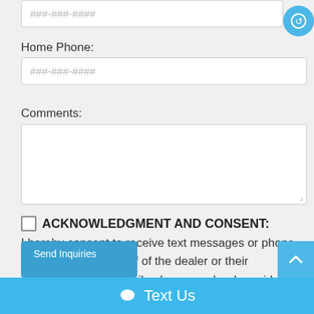###-###-####
Home Phone:
###-###-####
Comments:
ACKNOWLEDGMENT AND CONSENT: I hereby consent to receive text messages or phone calls from or on behalf of the dealer or their employees to the mobile phone number I provided above. By opting in, I understand that message and data rates may apply. This acknowledgement
Text Us